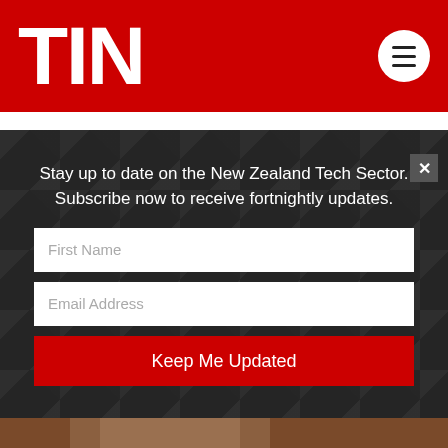[Figure (logo): TIN logo in white bold text on red background header with hamburger menu button]
Stay up to date on the New Zealand Tech Sector. Subscribe now to receive fortnightly updates.
First Name
Email Address
Keep Me Updated
[Figure (photo): Man smiling in front of brick wall, partial view from bottom of page]